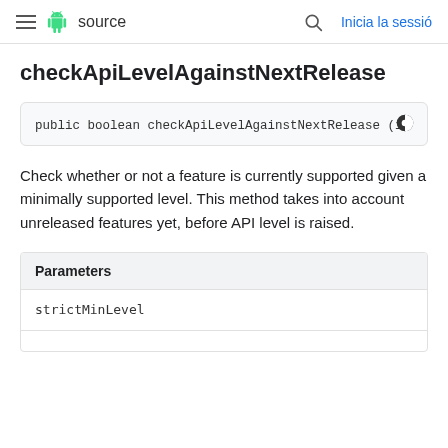≡  source   🔍  Inicia la sessió
checkApiLevelAgainstNextRelease
public boolean checkApiLevelAgainstNextRelease (i
Check whether or not a feature is currently supported given a minimally supported level. This method takes into account unreleased features yet, before API level is raised.
| Parameters |
| --- |
| strictMinLevel |
|  |